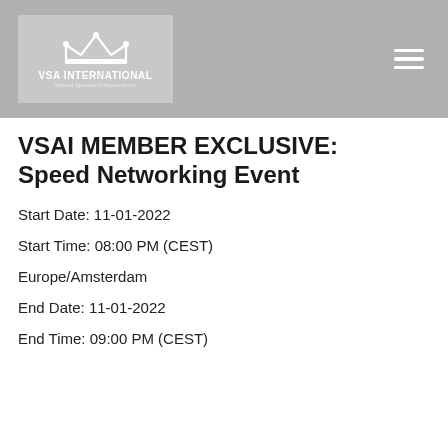[Figure (logo): VSA International logo with crown icon, text 'VSA INTERNATIONAL' and 'Virtual Speakers Association']
VSAI MEMBER EXCLUSIVE: Speed Networking Event
Start Date: 11-01-2022
Start Time: 08:00 PM (CEST)
Europe/Amsterdam
End Date: 11-01-2022
End Time: 09:00 PM (CEST)